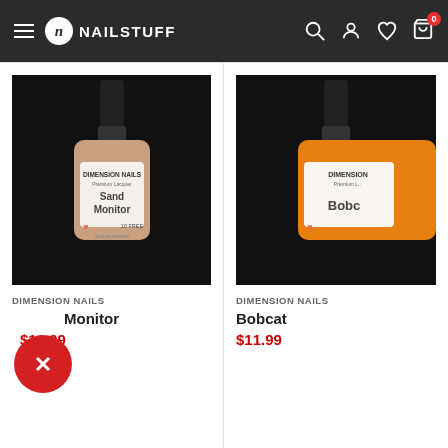NAILSTUFF — navigation header with hamburger menu, logo, search, account, wishlist, cart (0)
[Figure (photo): Dimension Nails nail polish bottle — Sand Monitor, nude/tan color, labeled 'Sand Monitor', Premium Lacquer, 10 FREE, @dimensionnails, black background]
DIMENSION NAILS
Sand Monitor
$11.99
[Figure (photo): Dimension Nails nail polish bottle — Bobcat, orange color, labeled 'Bobcat', Premium Lacquer, black background, partially cropped]
DIMENSION NAILS
Bobcat
$11.99